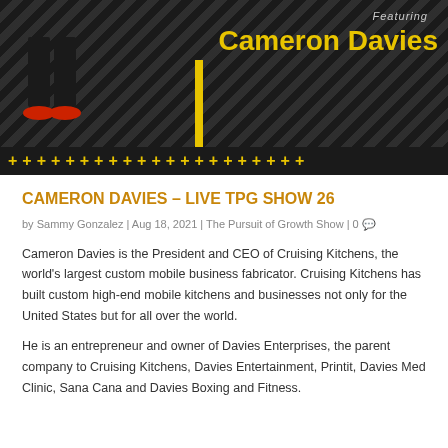[Figure (photo): Dark banner image with diagonal stripe pattern, a yellow vertical bar, a person's legs visible on the left, 'Featuring' text and 'Cameron Davies' in yellow bold text on the right, and a row of yellow plus signs at the bottom.]
CAMERON DAVIES – LIVE TPG SHOW 26
by Sammy Gonzalez | Aug 18, 2021 | The Pursuit of Growth Show | 0
Cameron Davies is the President and CEO of Cruising Kitchens, the world's largest custom mobile business fabricator. Cruising Kitchens has built custom high-end mobile kitchens and businesses not only for the United States but for all over the world.
He is an entrepreneur and owner of Davies Enterprises, the parent company to Cruising Kitchens, Davies Entertainment, Printit, Davies Med Clinic, Sana Cana and Davies Boxing and Fitness.